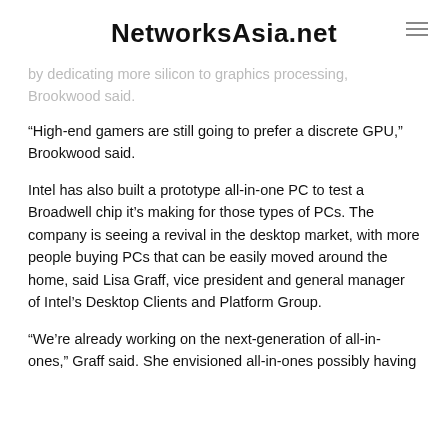NetworksAsia.net
by dedicating more silicon to graphics processing, Brookwood said.
“High-end gamers are still going to prefer a discrete GPU,” Brookwood said.
Intel has also built a prototype all-in-one PC to test a Broadwell chip it’s making for those types of PCs. The company is seeing a revival in the desktop market, with more people buying PCs that can be easily moved around the home, said Lisa Graff, vice president and general manager of Intel’s Desktop Clients and Platform Group.
“We’re already working on the next-generation of all-in-ones,” Graff said. She envisioned all-in-ones possibly having